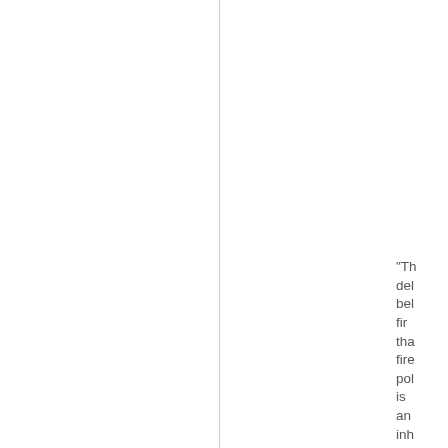"Th del bel fir tha fire pol is an inh dor one tha doe not cro tra bou If